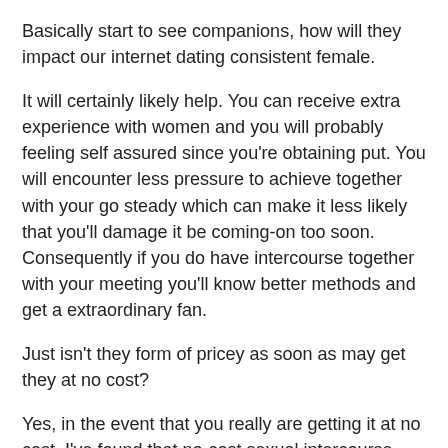Basically start to see companions, how will they impact our internet dating consistent female.
It will certainly likely help. You can receive extra experience with women and you will probably feeling self assured since you're obtaining put. You will encounter less pressure to achieve together with your go steady which can make it less likely that you'll damage it be coming-on too soon. Consequently if you do have intercourse together with your meeting you'll know better methods and get a extraordinary fan.
Just isn't they form of pricey as soon as may get they at no cost?
Yes, in the event that you really are getting it at no cost. I've found that no-cost sexual intercourse could be a lot more pricey. In case you are single you might fork out a lot of capital on gift ideas and goes and never ensure it is. After you carry